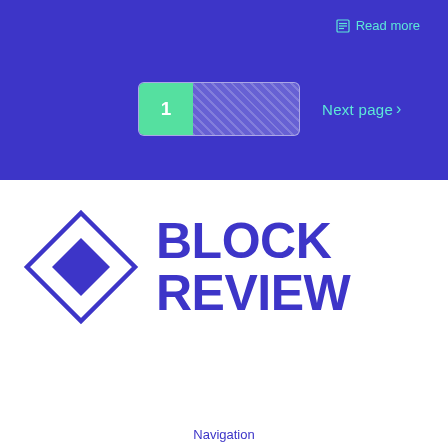Read more
[Figure (other): Pagination control showing page 1 active (green) with dotted placeholder area]
Next page >
[Figure (logo): Block Review logo: diamond shape with inner diamond, beside bold text BLOCK REVIEW]
Navigation